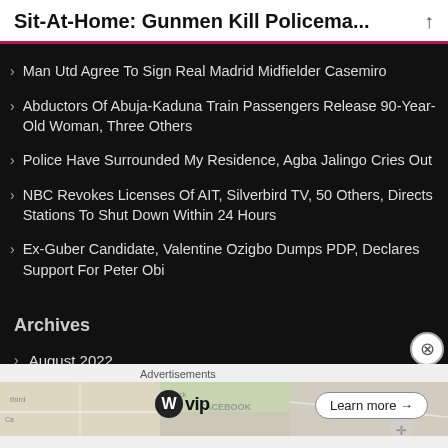Sit-At-Home: Gunmen Kill Policema...
Man Utd Agree To Sign Real Madrid Midfielder Casemiro
Abductors Of Abuja-Kaduna Train Passengers Release 90-Year-Old Woman, Three Others
Police Have Surrounded My Residence, Agba Jalingo Cries Out
NBC Revokes Licenses Of AIT, Silverbird TV, 50 Others, Directs Stations To Shut Down Within 24 Hours
Ex-Guber Candidate, Valentine Ozigbo Dumps PDP, Declares Support For Peter Obi
Archives
August 2022
July 2022
Advertisements
[Figure (illustration): WordPress VIP advertisement banner with map background graphic, WP VIP logo and Learn more button]